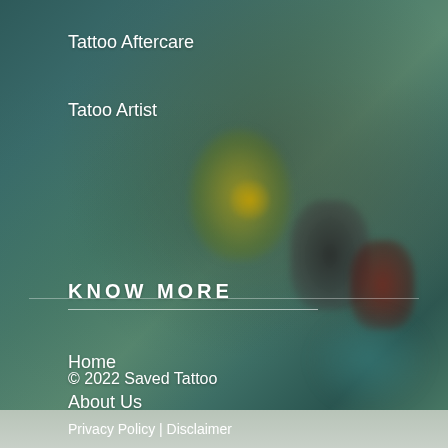Tattoo Aftercare
Tatoo Artist
KNOW MORE
Home
About Us
[Figure (photo): Blurred close-up photo of tattoo ink containers/caps on a dark surface with teal/green background]
© 2022 Saved Tattoo
Privacy Policy | Disclaimer